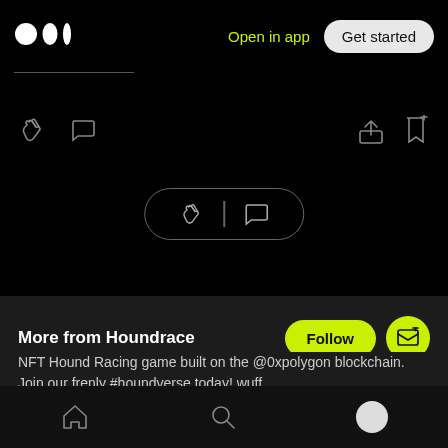Medium logo | Open in app | Get started
[Figure (screenshot): Icon row with clap, comment icons on left and share, bookmark icons on right]
[Figure (screenshot): Pill-shaped button with clap and comment icons separated by a vertical divider]
More from Houndrace
NFT Hound Racing game built on the @0xpolygon blockchain. Join our frenly #houndverse today!  wuff
Bottom navigation bar with home, search, and profile icons